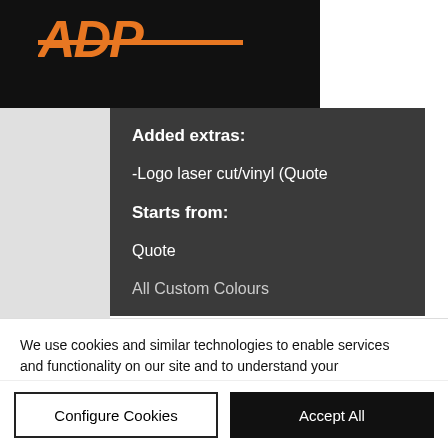[Figure (logo): ADP logo in orange italic text on black background]
Log In  0
Added extras:
-Logo laser cut/vinyl (Quote
Starts from:
Quote
All Custom Colours
We use cookies and similar technologies to enable services and functionality on our site and to understand your interaction with our service. By clicking on accept, you agree to our use of such technologies for marketing and analytics. See Privacy Policy